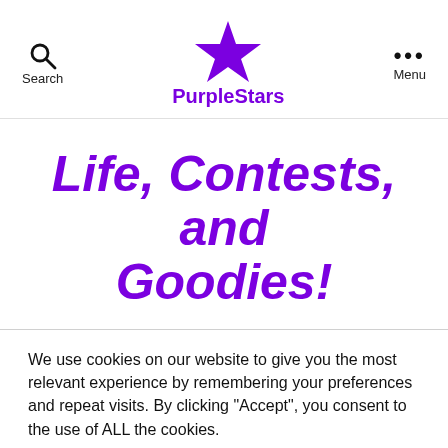Search  PurpleStars  Menu
Life, Contests, and Goodies!
We use cookies on our website to give you the most relevant experience by remembering your preferences and repeat visits. By clicking “Accept”, you consent to the use of ALL the cookies.
Do not sell my personal information.